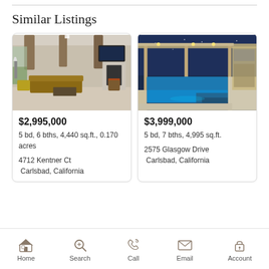Similar Listings
[Figure (photo): Interior photo of a luxury living room with exposed wood beams, fireplace, large windows, and modern furnishings]
$2,995,000
5 bd, 6 bths, 4,440 sq.ft., 0.170 acres
4712 Kentner Ct Carlsbad, California
[Figure (photo): Exterior night photo of a luxury home with illuminated pool and covered outdoor patio area]
$3,999,000
5 bd, 7 bths, 4,995 sq.ft.
2575 Glasgow Drive Carlsbad, California
Home  Search  Call  Email  Account